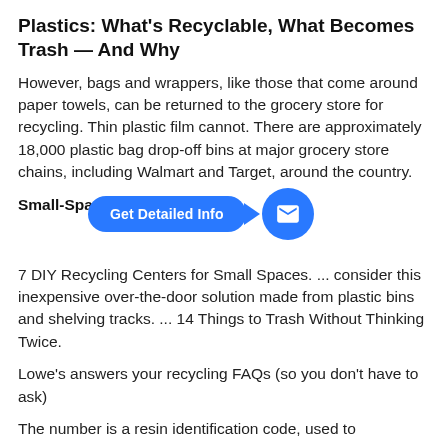Plastics: What's Recyclable, What Becomes Trash — And Why
However, bags and wrappers, like those that come around paper towels, can be returned to the grocery store for recycling. Thin plastic film cannot. There are approximately 18,000 plastic bag drop-off bins at major grocery store chains, including Walmart and Target, around the country.
Small-Space Recycling Vi
7 DIY Recycling Centers for Small Spaces. ... consider this inexpensive over-the-door solution made from plastic bins and shelving tracks. ... 14 Things to Trash Without Thinking Twice.
Lowe's answers your recycling FAQs (so you don't have to ask)
The number is a resin identification code, used to